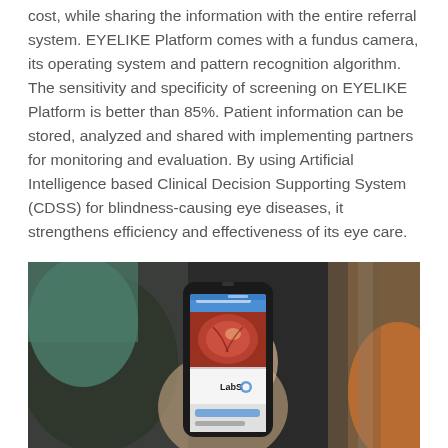cost, while sharing the information with the entire referral system. EYELIKE Platform comes with a fundus camera, its operating system and pattern recognition algorithm. The sensitivity and specificity of screening on EYELIKE Platform is better than 85%. Patient information can be stored, analyzed and shared with implementing partners for monitoring and evaluation. By using Artificial Intelligence based Clinical Decision Supporting System (CDSS) for blindness-causing eye diseases, it strengthens efficiency and effectiveness of its eye care.
[Figure (photo): A person holding a smartphone displaying the EyeLike Fundus Camera app with a fundus image on screen and the LabSD logo visible, photographed in a clinical setting.]